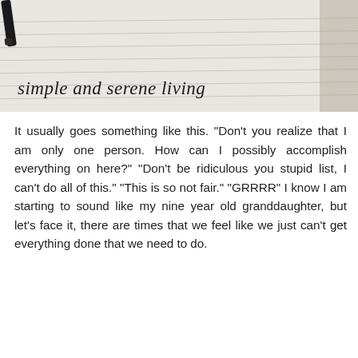[Figure (photo): Photo of lined notebook paper with a black pen resting on it, overlaid with cursive script text reading 'simple and serene living']
It usually goes something like this. "Don't you realize that I am only one person. How can I possibly accomplish everything on here?" "Don't be ridiculous you stupid list, I can't do all of this." "This is so not fair." "GRRRR" I know I am starting to sound like my nine year old granddaughter, but let's face it, there are times that we feel like we just can't get everything done that we need to do.